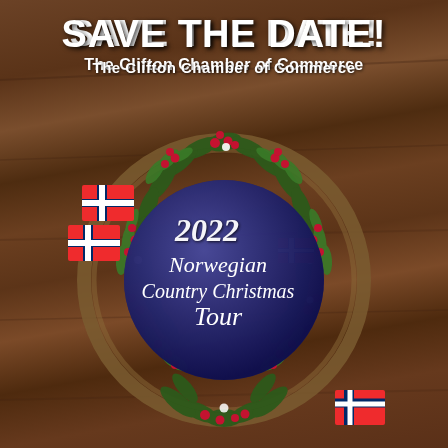SAVE THE DATE!
The Clifton Chamber of Commerce
[Figure (illustration): Decorative Christmas wreath made of pine branches, green leaves, red berries, and white dots on a dark wood background. Inside the wreath is a dark blue/purple circle with white italic script text reading '2022 Norwegian Country Christmas Tour' and a small Norwegian flag. Outside the wreath are two Norwegian flags on the left and one in the bottom right corner.]